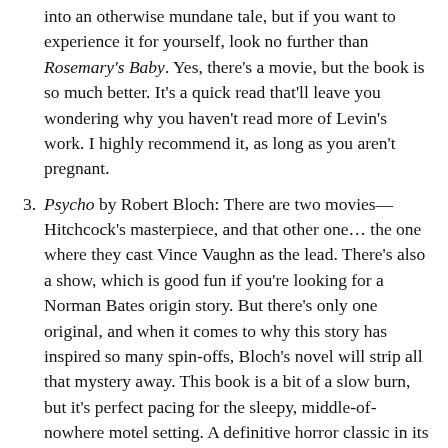into an otherwise mundane tale, but if you want to experience it for yourself, look no further than Rosemary's Baby. Yes, there's a movie, but the book is so much better. It's a quick read that'll leave you wondering why you haven't read more of Levin's work. I highly recommend it, as long as you aren't pregnant.
3. Psycho by Robert Bloch: There are two movies—Hitchcock's masterpiece, and that other one... the one where they cast Vince Vaughn as the lead. There's also a show, which is good fun if you're looking for a Norman Bates origin story. But there's only one original, and when it comes to why this story has inspired so many spin-offs, Bloch's novel will strip all that mystery away. This book is a bit of a slow burn, but it's perfect pacing for the sleepy, middle-of-nowhere motel setting. A definitive horror classic in its own right.
4. The Exorcist by William Peter Blatty: Believe it or not, but this is another one of those read-only-once novels for me. The Exorcist was one of the first genuine, honest-to-goodness horror movies I saw as a kid, and let me tell you, that film wrecked me. I couldn't sleep for months, and the